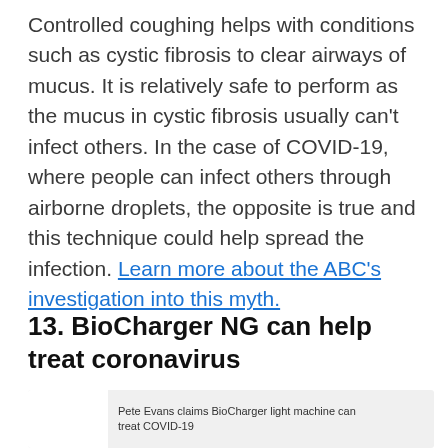Controlled coughing helps with conditions such as cystic fibrosis to clear airways of mucus. It is relatively safe to perform as the mucus in cystic fibrosis usually can't infect others. In the case of COVID-19, where people can infect others through airborne droplets, the opposite is true and this technique could help spread the infection. Learn more about the ABC's investigation into this myth.
13. BioCharger NG can help treat coronavirus
[Figure (screenshot): Screenshot thumbnail showing text: Pete Evans claims BioCharger light machine can treat COVID-19]